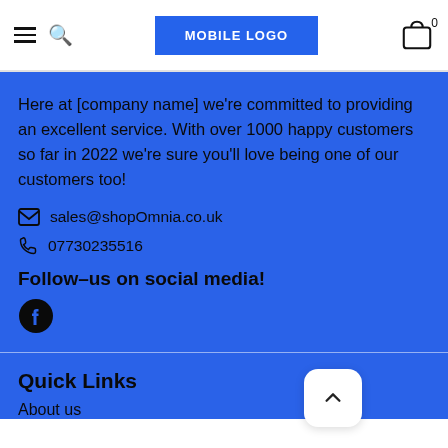MOBILE LOGO
Here at [company name] we're committed to providing an excellent service. With over 1000 happy customers so far in 2022 we're sure you'll love being one of our customers too!
sales@shopOmnia.co.uk
07730235516
Follow-us on social media!
[Figure (logo): Facebook logo icon]
Quick Links
About us